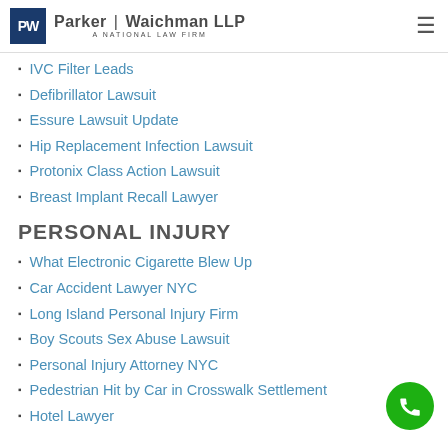Parker | Waichman LLP — A National Law Firm
IVC Filter Leads
Defibrillator Lawsuit
Essure Lawsuit Update
Hip Replacement Infection Lawsuit
Protonix Class Action Lawsuit
Breast Implant Recall Lawyer
PERSONAL INJURY
What Electronic Cigarette Blew Up
Car Accident Lawyer NYC
Long Island Personal Injury Firm
Boy Scouts Sex Abuse Lawsuit
Personal Injury Attorney NYC
Pedestrian Hit by Car in Crosswalk Settlement
Hotel Lawyer